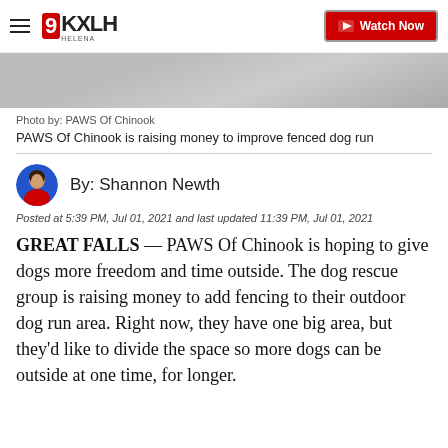9KXLH Helena | Watch Now
[Figure (photo): Partial view of a dog or outdoor area related to PAWS of Chinook]
Photo by: PAWS Of Chinook
PAWS Of Chinook is raising money to improve fenced dog run
By: Shannon Newth
Posted at 5:39 PM, Jul 01, 2021 and last updated 11:39 PM, Jul 01, 2021
GREAT FALLS — PAWS Of Chinook is hoping to give dogs more freedom and time outside. The dog rescue group is raising money to add fencing to their outdoor dog run area. Right now, they have one big area, but they'd like to divide the space so more dogs can be outside at one time, for longer.